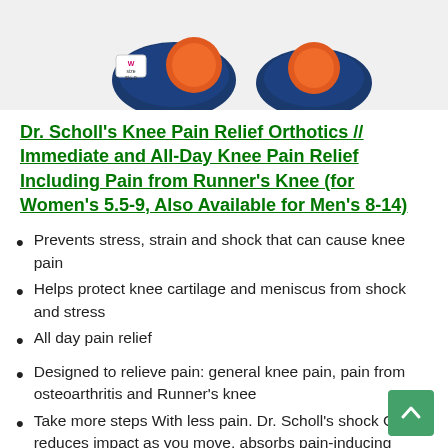[Figure (photo): Product photo of Dr. Scholl's knee pain relief orthotics insoles (two insoles shown, navy/orange color), partially cropped at top]
Dr. Scholl's Knee Pain Relief Orthotics // Immediate and All-Day Knee Pain Relief Including Pain from Runner's Knee (for Women's 5.5-9, Also Available for Men's 8-14)
Prevents stress, strain and shock that can cause knee pain
Helps protect knee cartilage and meniscus from shock and stress
All day pain relief
Designed to relieve pain: general knee pain, pain from osteoarthritis and Runner's knee
Take more steps With less pain. Dr. Scholl's shock Guard reduces impact as you move, absorbs pain-inducing shock and helps transition weight and distribute pressure.